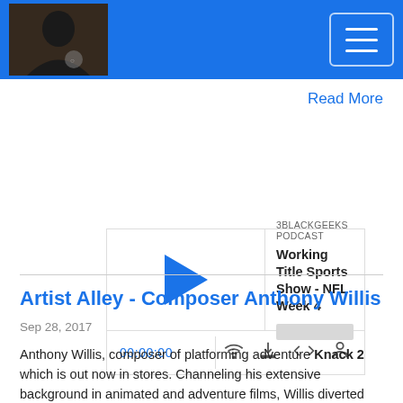3BLACKGEEKS PODCAST - Navigation header with logo and menu button
Read More
[Figure (screenshot): Podcast player for '3BLACKGEEKS PODCAST - Working Title Sports Show - NFL Week 4' with play button, progress bar, time display 00:00:00, and control icons for cast, download, embed, and share]
Artist Alley - Composer Anthony Willis
Sep 28, 2017
Anthony Willis, composer of platforming adventure Knack 2 which is out now in stores. Channeling his extensive background in animated and adventure films, Willis diverted from the classical orchestral sound of the first game to create something more modular and percussive, something with a unique and ever-changing...